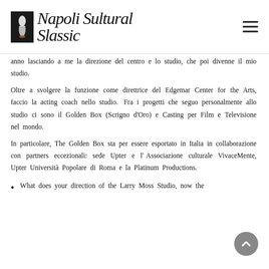Napoli Cultural Classic
anno lasciando a me la direzione del centro e lo studio, che poi divenne il mio studio.
Oltre a svolgere la funzione come direttrice del Edgemar Center for the Arts, faccio la acting coach nello studio.  Fra i progetti che seguo personalmente allo studio ci sono il Golden Box (Scrigno d'Oro) e Casting per Film e Televisione nel mondo.
In particolare, The Golden Box sta per essere esportato in Italia in collaborazione con partners eccezionali: sede Upter e l'Associazione culturale VivaceMente, Upter Università Popolare di Roma e la Platinum Productions.
What does your direction of the Larry Moss Studio, now the